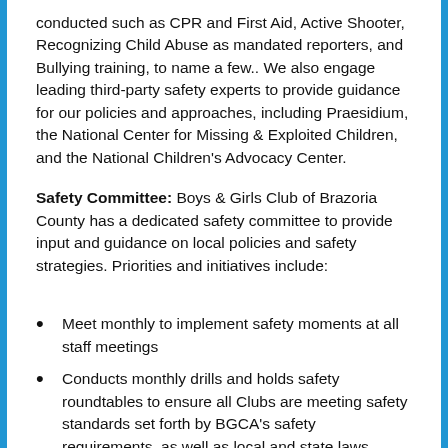conducted such as CPR and First Aid, Active Shooter, Recognizing Child Abuse as mandated reporters, and Bullying training, to name a few.. We also engage leading third-party safety experts to provide guidance for our policies and approaches, including Praesidium, the National Center for Missing & Exploited Children, and the National Children's Advocacy Center.
Safety Committee: Boys & Girls Club of Brazoria County has a dedicated safety committee to provide input and guidance on local policies and safety strategies. Priorities and initiatives include:
Meet monthly to implement safety moments at all staff meetings
Conducts monthly drills and holds safety roundtables to ensure all Clubs are meeting safety standards set forth by BGCA's safety requirements, as well as local and state laws